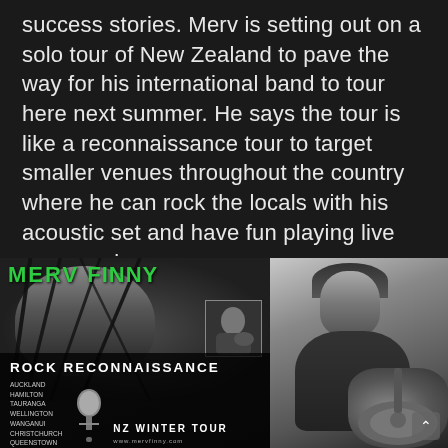success stories. Merv is setting out on a solo tour of New Zealand to pave the way for his international band to tour here next summer. He says the tour is like a reconnaissance tour to target smaller venues throughout the country where he can rock the locals with his acoustic set and have fun playing live once again.
[Figure (photo): Two side-by-side images: left is a promotional tour poster for 'Merv Finny Rock Reconnaissance NZ Winter Tour' showing a close-up face with cables/strings over it, green title text, venue list and microphone; right is a black and white photo of a young man holding an acoustic guitar, looking to the side.]